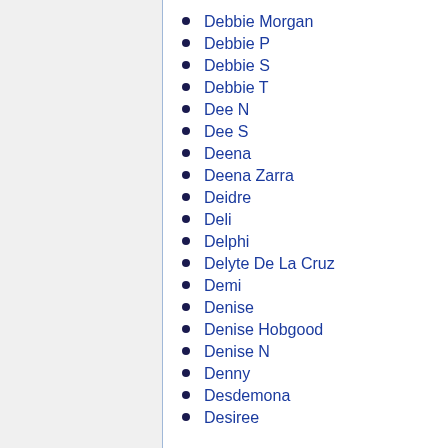Debbie Morgan
Debbie P
Debbie S
Debbie T
Dee N
Dee S
Deena
Deena Zarra
Deidre
Deli
Delphi
Delyte De La Cruz
Demi
Denise
Denise Hobgood
Denise N
Denny
Desdemona
Desiree